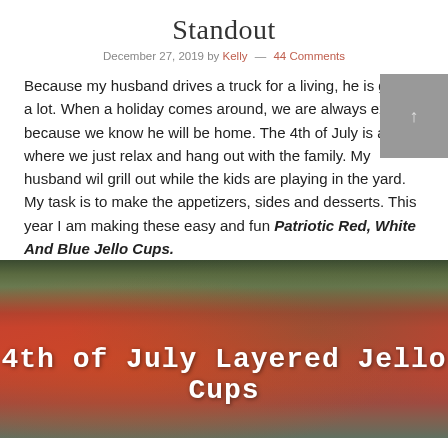Standout
December 27, 2019 by Kelly — 44 Comments
Because my husband drives a truck for a living, he is gone a lot. When a holiday comes around, we are always excited because we know he will be home. The 4th of July is a day where we just relax and hang out with the family. My husband wil grill out while the kids are playing in the yard. My task is to make the appetizers, sides and desserts. This year I am making these easy and fun Patriotic Red, White And Blue Jello Cups.
[Figure (photo): Photo of 4th of July Layered Jello Cups with red, green and dark background and white text overlay reading '4th of July Layered Jello Cups']